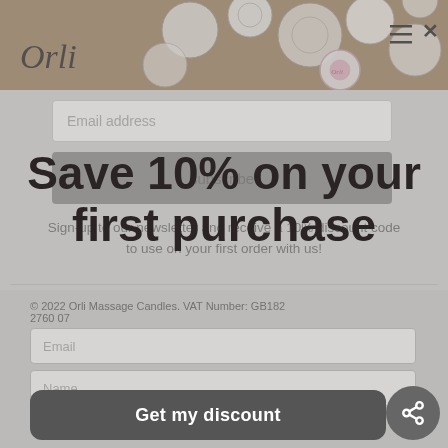[Figure (screenshot): Website header with Orli logo and candle products image, navigation with hamburger menu and X close button]
Email address
subscribe
Save 10% on your first purchase
Sign-up to our newsletter and receive a 10% discount code to use on your first order with us!
© 2022 Orli Massage Candles. VAT Number: GB182 2760 07
Email
Name
[Figure (illustration): Social media icons: Twitter, Facebook, Pinterest, Instagram, Flickr]
Get my discount